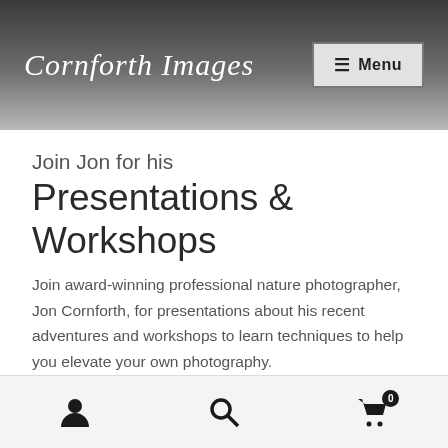Cornforth Images
Join Jon for his
Presentations & Workshops
Join award-winning professional nature photographer, Jon Cornforth, for presentations about his recent adventures and workshops to learn techniques to help you elevate your own photography.
[Figure (photo): Partial view of a colorful nature photograph at the bottom of the content area]
Navigation icons: user/account, search, cart (0)